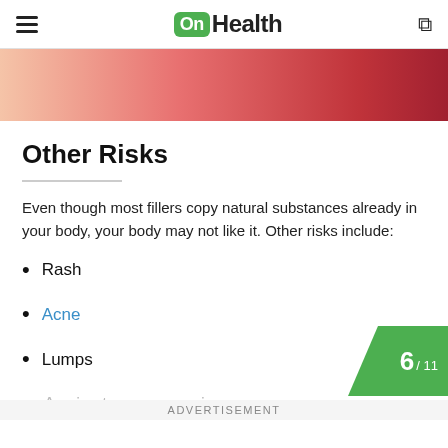OnHealth
[Figure (photo): Close-up photo of skin with reddish irritation/rash, fading from pale pink on left to deep red on right]
Other Risks
Even though most fillers copy natural substances already in your body, your body may not like it. Other risks include:
Rash
Acne
Lumps
A...ti...a...ti...
ADVERTISEMENT